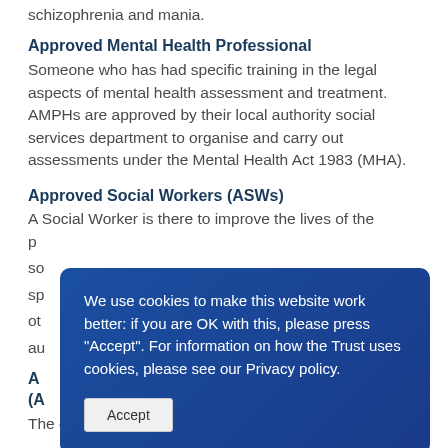schizophrenia and mania.
Approved Mental Health Professional
Someone who has had specific training in the legal aspects of mental health assessment and treatment. AMPHs are approved by their local authority social services department to organise and carry out assessments under the Mental Health Act 1983 (MHA).
Approved Social Workers (ASWs)
A Social Worker is there to improve the lives of the people they work with, and in mental health, social workers may work alongside other health specialists, or they may be the lead professional in assessing and...
A... (A...
The committee is made up of members from all local
We use cookies to make this website work better: if you are OK with this, please press "Accept". For information on how the Trust uses cookies, please see our Privacy policy.